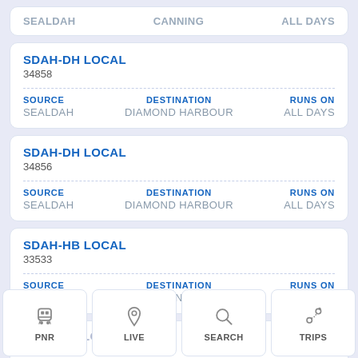SEALDAH | CANNING | ALL DAYS
| Train | Number |
| --- | --- |
| SDAH-DH LOCAL | 34858 |
| SOURCE | DESTINATION | RUNS ON |
| --- | --- | --- |
| SEALDAH | DIAMOND HARBOUR | ALL DAYS |
| Train | Number |
| --- | --- |
| SDAH-DH LOCAL | 34856 |
| SOURCE | DESTINATION | RUNS ON |
| --- | --- | --- |
| SEALDAH | DIAMOND HARBOUR | ALL DAYS |
| Train | Number |
| --- | --- |
| SDAH-HB LOCAL | 33533 |
| SOURCE | DESTINATION | RUNS ON |
| --- | --- | --- |
| SEALDAH | HASANABAD | ALL DAYS |
SDAH-BT LOCAL 334...
PNR | LIVE | SEARCH | TRIPS